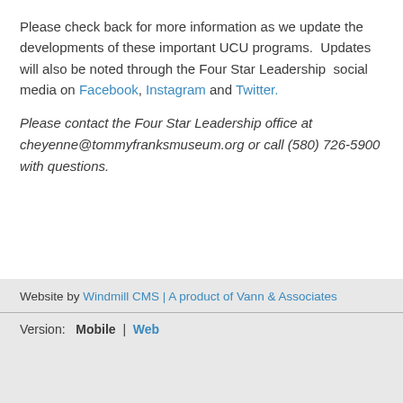Please check back for more information as we update the developments of these important UCU programs. Updates will also be noted through the Four Star Leadership social media on Facebook, Instagram and Twitter.
Please contact the Four Star Leadership office at cheyenne@tommyfranksmuseum.org or call (580) 726-5900 with questions.
Website by Windmill CMS | A product of Vann & Associates
Version: Mobile | Web